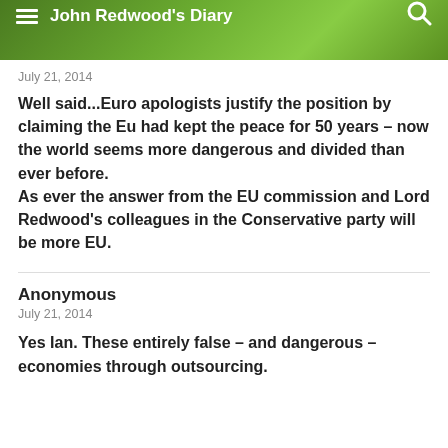John Redwood's Diary
July 21, 2014
Well said...Euro apologists justify the position by claiming the Eu had kept the peace for 50 years – now the world seems more dangerous and divided than ever before.
As ever the answer from the EU commission and Lord Redwood's colleagues in the Conservative party will be more EU.
Anonymous
July 21, 2014
Yes Ian. These entirely false – and dangerous – economies through outsourcing.